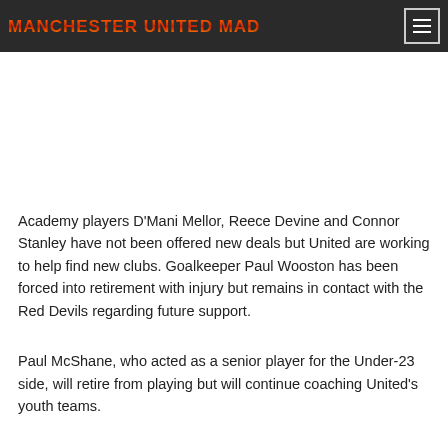MANCHESTER UNITED MAD
Academy players D'Mani Mellor, Reece Devine and Connor Stanley have not been offered new deals but United are working to help find new clubs. Goalkeeper Paul Wooston has been forced into retirement with injury but remains in contact with the Red Devils regarding future support.
Paul McShane, who acted as a senior player for the Under-23 side, will retire from playing but will continue coaching United's youth teams.